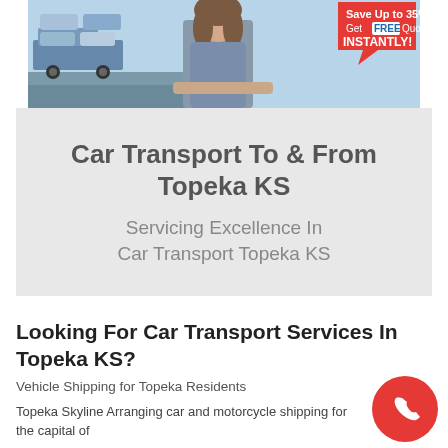[Figure (photo): Advertisement banner showing a car carrier truck with vehicles on the left, a smiling woman in the center, and text on the right reading 'Save Up to 35% Get FREE Quotes INSTANTLY!' with a red speech bubble graphic.]
Car Transport To & From Topeka KS
Servicing Excellence In Car Transport Topeka KS
Looking For Car Transport Services In Topeka KS?
Vehicle Shipping for Topeka Residents
Topeka Skyline Arranging car and motorcycle shipping for the capital of